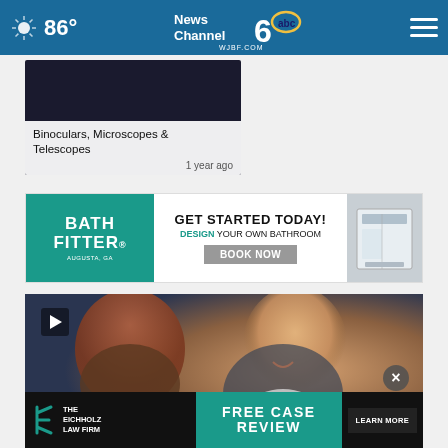86° | News Channel 6 abc WJBF.COM
Binoculars, Microscopes & Telescopes
1 year ago
[Figure (infographic): Bath Fitter advertisement: GET STARTED TODAY! DESIGN YOUR OWN BATHROOM. BOOK NOW. Augusta, GA.]
[Figure (photo): Video thumbnail showing an elderly man laughing, with a woman facing away in the foreground. Play button visible in top-left corner.]
[Figure (infographic): The Eichholz Law Firm advertisement: FREE CASE REVIEW. LEARN MORE button.]